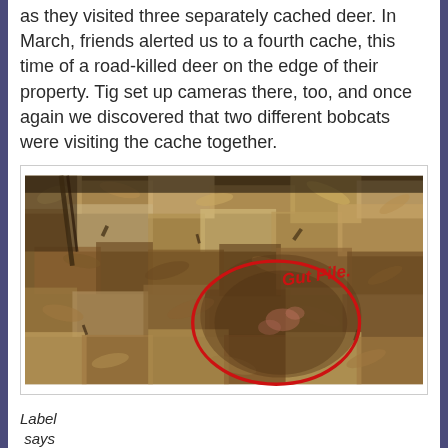as they visited three separately cached deer. In March, friends alerted us to a fourth cache, this time of a road-killed deer on the edge of their property. Tig set up cameras there, too, and once again we discovered that two different bobcats were visiting the cache together.
[Figure (photo): Close-up photograph of a pile of dead leaves and forest debris on the ground, with a red hand-drawn circle annotating a section labeled 'Gut Pile' in red handwritten text.]
Label says "Gut Pile"